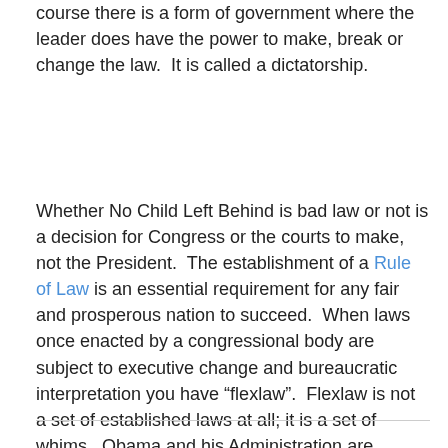course there is a form of government where the leader does have the power to make, break or change the law.  It is called a dictatorship.
Whether No Child Left Behind is bad law or not is a decision for Congress or the courts to make, not the President.  The establishment of a Rule of Law is an essential requirement for any fair and prosperous nation to succeed.  When laws once enacted by a congressional body are subject to executive change and bureaucratic interpretation you have “flexlaw”.  Flexlaw is not a set of established laws at all; it is a set of whims.  Obama and his Administration are transforming our land from a Republic into a DINO, a Democracy In Name Only.  He must be stopped.